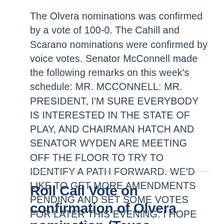The Olvera nominations was confirmed by a vote of 100-0. The Cahill and Scarano nominations were confirmed by voice votes. Senator McConnell made the following remarks on this week's schedule: MR. MCCONNELL: MR. PRESIDENT, I'M SURE EVERYBODY IS INTERESTED IN THE STATE OF PLAY, AND CHAIRMAN HATCH AND SENATOR WYDEN ARE MEETING OFF THE FLOOR TO TRY TO IDENTIFY A PATH FORWARD. WE'D LIKE TO GET MORE AMENDMENTS PENDING AND SET SOME VOTES FOR LATER THIS EVENING. I HOPE WE'LL HAVE AN UPDATE FROM THE ...
Roll Call Vote on confirmation of Olvera nomination (Texas